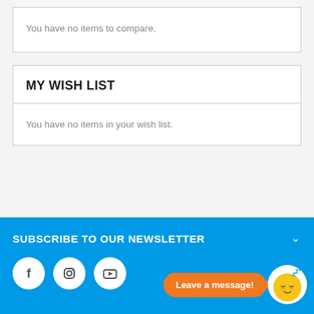You have no items to compare.
MY WISH LIST
You have no items in your wish list.
SUBSCRIBE TO OUR NEWSLETTER
[Figure (illustration): Leave a message chat widget with sleeping emoji avatar]
[Figure (illustration): Social media icons: Facebook, Instagram, YouTube]